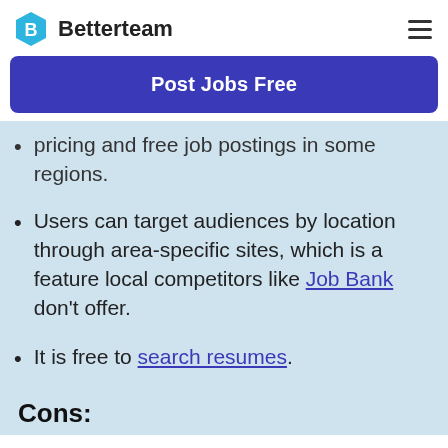Betterteam
Post Jobs Free
pricing and free job postings in some regions.
Users can target audiences by location through area-specific sites, which is a feature local competitors like Job Bank don't offer.
It is free to search resumes.
Cons: